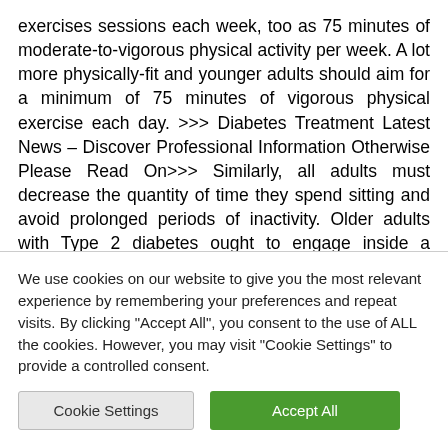exercises sessions each week, too as 75 minutes of moderate-to-vigorous physical activity per week. A lot more physically-fit and younger adults should aim for a minimum of 75 minutes of vigorous physical exercise each day. >>> Diabetes Treatment Latest News – Discover Professional Information Otherwise Please Read On>>> Similarly, all adults must decrease the quantity of time they spend sitting and avoid prolonged periods of inactivity. Older adults with Type 2 diabetes ought to engage inside a variety of flexibility and balance coaching
We use cookies on our website to give you the most relevant experience by remembering your preferences and repeat visits. By clicking "Accept All", you consent to the use of ALL the cookies. However, you may visit "Cookie Settings" to provide a controlled consent.